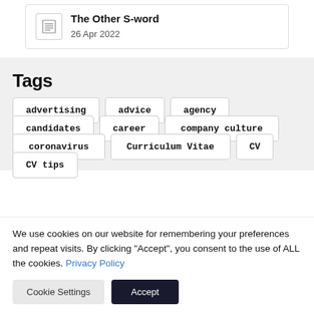The Other S-word | 26 Apr 2022
Tags
advertising
advice
agency
candidates
career
company culture
coronavirus
Curriculum Vitae
CV
CV tips
We use cookies on our website for remembering your preferences and repeat visits. By clicking "Accept", you consent to the use of ALL the cookies. Privacy Policy
Cookie Settings | Accept